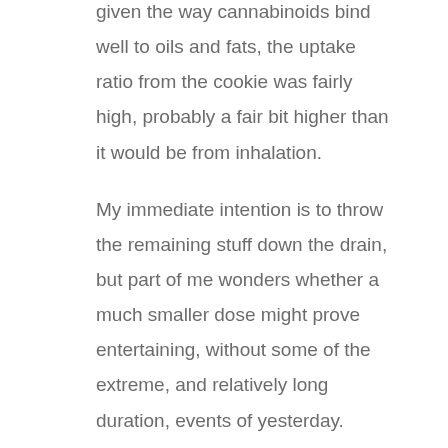given the way cannabinoids bind well to oils and fats, the uptake ratio from the cookie was fairly high, probably a fair bit higher than it would be from inhalation.
My immediate intention is to throw the remaining stuff down the drain, but part of me wonders whether a much smaller dose might prove entertaining, without some of the extreme, and relatively long duration, events of yesterday.
Just thought I'd throw this snippet out here, as it might be useful to someone else.
Im sorry to hear you have had a bit of a bad